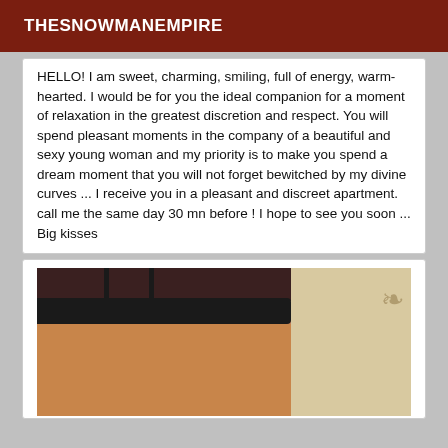THESNOWMANEMPIRE
HELLO! I am sweet, charming, smiling, full of energy, warm-hearted. I would be for you the ideal companion for a moment of relaxation in the greatest discretion and respect. You will spend pleasant moments in the company of a beautiful and sexy young woman and my priority is to make you spend a dream moment that you will not forget bewitched by my divine curves ... I receive you in a pleasant and discreet apartment. call me the same day 30 mn before ! I hope to see you soon ... Big kisses
[Figure (photo): Person wearing black lingerie top against a decorative wallpaper background]